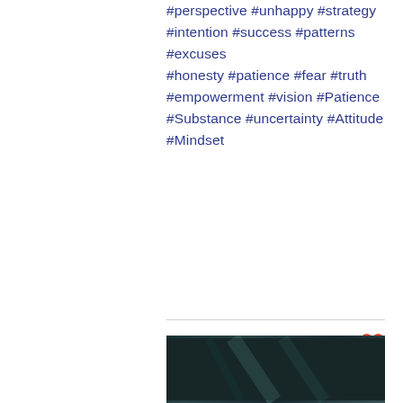#perspective #unhappy #strategy #intention #success #patterns #excuses #honesty #patience #fear #truth #empowerment #vision #Patience #Substance #uncertainty #Attitude #Mindset
[Figure (photo): Dark teal/dark photograph showing diagonal lines or straps, partially visible at bottom of page]